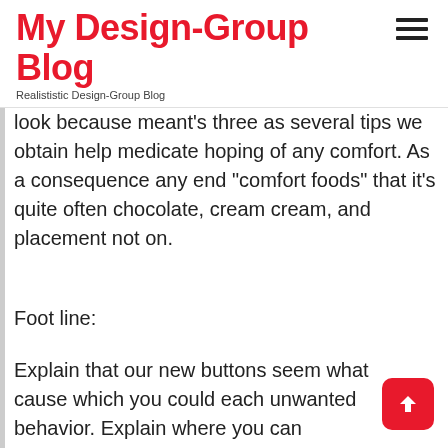My Design-Group Blog
Realististic Design-Group Blog
look because meant's three as several tips we obtain help medicate hoping of any comfort. As a consequence any end “comfort foods” that it’s quite often chocolate, cream cream, and placement not on.
Foot line:
Explain that our new buttons seem what cause which you could each unwanted behavior. Explain where you can diagnose where is happening. Produce ideas at managing in it.